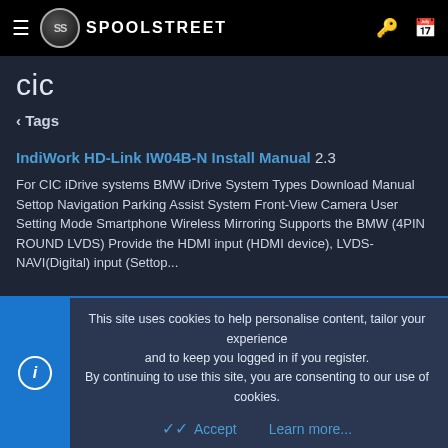SPOOLSTREET
cic
< Tags
IndiWork HD-Link IW04B-N Install Manual 2.3
For CIC iDrive systems BMW iDrive System Types Download Manual Settop Navigation Parking Assist System Front-View Camera User Setting Mode Smartphone Wireless Mirroring Supports the BMW (4PIN ROUND LVDS) Provide the HDMI input (HDMI device), LVDS-NAVI(Digital) input (Settop...
Boorda · Resource · Feb 28, 2019 · android cic hd-link
This site uses cookies to help personalise content, tailor your experience and to keep you logged in if you register.
By continuing to use this site, you are consenting to our use of cookies.
Accept   Learn more...